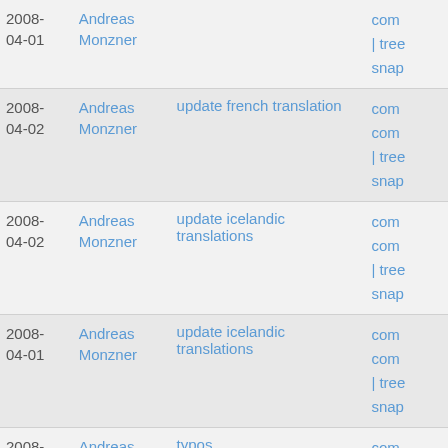| Date | Author | Message | Links |
| --- | --- | --- | --- |
| 2008-04-01 | Andreas Monzner |  | com
| tree
snap |
| 2008-04-02 | Andreas Monzner | update french translation | com
com
| tree
snap |
| 2008-04-02 | Andreas Monzner | update icelandic translations | com
com
| tree
snap |
| 2008-04-01 | Andreas Monzner | update icelandic translations | com
com
| tree
snap |
| 2008-04-01 | Andreas Frisch | typos | com
com
| tree
snap |